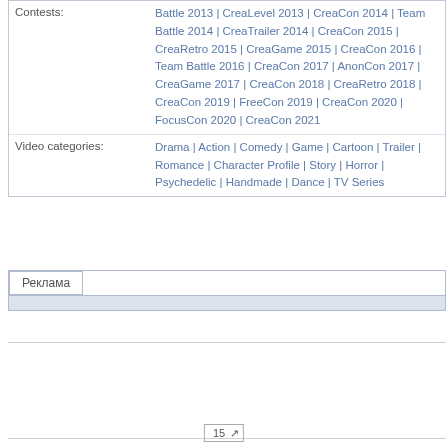| Contests: | Battle 2013 | CreaLevel 2013 | CreaCon 2014 | Team Battle 2014 | CreaTrailer 2014 | CreaCon 2015 | CreaRetro 2015 | CreaGame 2015 | CreaCon 2016 | Team Battle 2016 | CreaCon 2017 | AnonCon 2017 | CreaGame 2017 | CreaCon 2018 | CreaRetro 2018 | CreaCon 2019 | FreeCon 2019 | CreaCon 2020 | FocusCon 2020 | CreaCon 2021 |
| Video categories: | Drama | Action | Comedy | Game | Cartoon | Trailer | Romance | Character Profile | Story | Horror | Psychedelic | Handmade | Dance | TV Series |
Реклама
15